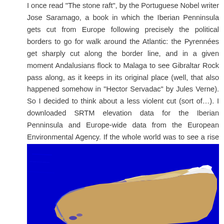I once read "The stone raft", by the Portuguese Nobel writer Jose Saramago, a book in which the Iberian Penninsula gets cut from Europe following precisely the political borders to go for walk around the Atlantic: the Pyrennées get sharply cut along the border line, and in a given moment Andalusians flock to Malaga to see Gibraltar Rock pass along, as it keeps in its original place (well, that also happened somehow in "Hector Servadac" by Jules Verne). So I decided to think about a less violent cut (sort of…). I downloaded SRTM elevation data for the Iberian Penninsula and Europe-wide data from the European Environmental Agency. If the whole world was to see a rise in the sea level of 200 m (for whatever reason, be it climate change -whose forecasts are way inferior to this figure- or any other you can think of), the whole of Iberia would be an island… albeit a quite different in outline from what we know now.
[Figure (map): Satellite/elevation map showing the Iberian Peninsula as an island with blue ocean surroundings and brown/white mountainous terrain, viewed from above at an angle.]